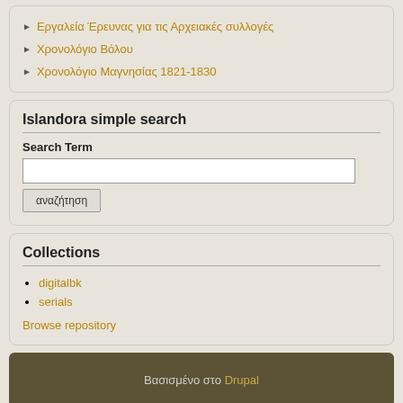Εργαλεία Έρευνας για τις Αρχειακές συλλογές
Χρονολόγιο Βόλου
Χρονολόγιο Μαγνησίας 1821-1830
Islandora simple search
Search Term
Collections
digitalbk
serials
Browse repository
Βασισμένο στο Drupal